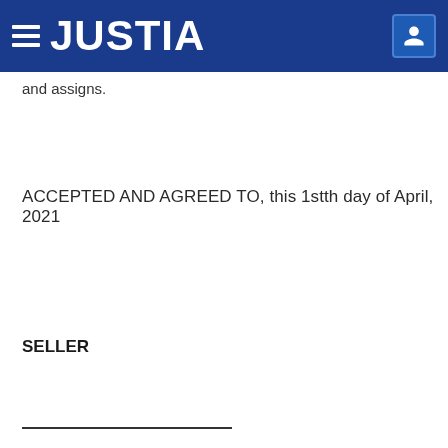JUSTIA
and assigns.
ACCEPTED AND AGREED TO, this 1stth day of April, 2021
SELLER
___________________________________